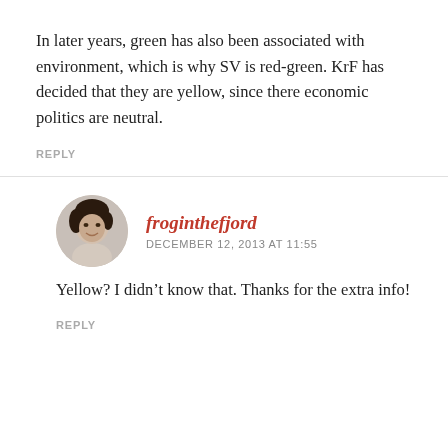In later years, green has also been associated with environment, which is why SV is red-green. KrF has decided that they are yellow, since there economic politics are neutral.
REPLY
froginthefjord
DECEMBER 12, 2013 AT 11:55
Yellow? I didn’t know that. Thanks for the extra info!
REPLY